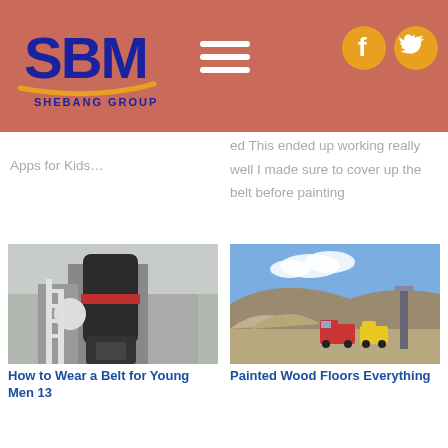[Figure (logo): SBM Shebang Group logo with blue letters SBM and orange underline on salmon/red background]
[Figure (infographic): Hamburger menu icon (three white horizontal lines) on salmon background]
[Figure (infographic): Facebook and Twitter social media icons as yellow/orange circles on salmon background]
Apps for Kids…
ed This ended up working really well I made sure to cover up the belt before painting
[Figure (photo): Industrial grinding mill machine in a factory setting]
[Figure (photo): Quarry site with trucks and excavated landscape]
How to Wear a Belt for Young Men 13
Painted Wood Floors Everything